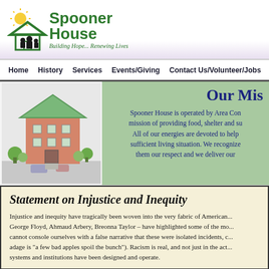[Figure (logo): Spooner House logo with house illustration, sun, and silhouette of people. Text: Spooner House - Building Hope... Renewing Lives]
Home   History   Services   Events/Giving   Contact Us/Volunteer/Jobs
[Figure (illustration): Isometric illustration of a multi-story brick building with green roof]
Our Mis
Spooner House is operated by Area Con... mission of providing food, shelter and su... All of our energies are devoted to help... sufficient living situation. We recognize... them our respect and we deliver our...
Statement on Injustice and Inequity
Injustice and inequity have tragically been woven into the very fabric of American... George Floyd, Ahmaud Arbery, Breonna Taylor – have highlighted some of the mo... cannot console ourselves with a false narrative that these were isolated incidents, c... adage is "a few bad apples spoil the bunch"). Racism is real, and not just in the act... systems and institutions have been designed and operate.